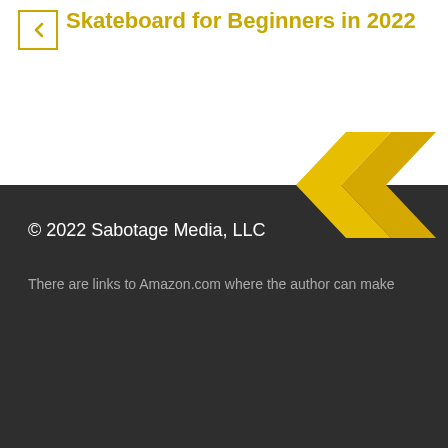Skateboard for Beginners in 2022
[Figure (illustration): Two yellow double-chevron arrows pointing left, overlapping the boundary between the white and dark sections]
© 2022 Sabotage Media, LLC
There are links to Amazon.com where the author can make